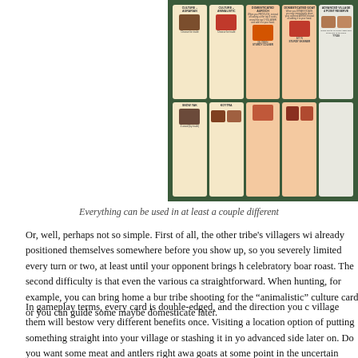[Figure (photo): A board game spread showing multiple game cards arranged in two rows inside a dark green game box. Cards include Culture-Agrarian, Culture-Animalistic, Domesticated Auroch, Domesticated Goat, and Advanced Village cards among others. Cards have small thumbnail images and text.]
Everything can be used in at least a couple different
Or, well, perhaps not so simple. First of all, the other tribe's villagers wi... already positioned themselves somewhere before you show up, so you... severely limited every turn or two, at least until your opponent brings h... celebratory boar roast. The second difficulty is that even the various ca... straightforward. When hunting, for example, you can bring home a bur... tribe shooting for the “animalistic” culture card, or you can guide some... maybe domesticate later.
In gameplay terms, every card is double-edged, and the direction you c... village them will bestow very different benefits once. Visiting a location... option of putting something straight into your village or stashing it in yo... advanced side later on. Do you want some meat and antlers right awa... goats at some point in the uncertain future? Stockpile clay and flax, or... improving the village? It might initially seem like the advanced option is